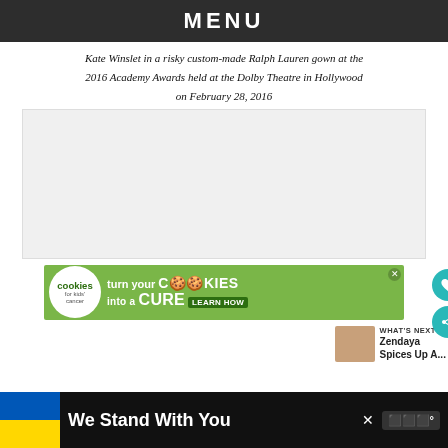MENU
Kate Winslet in a risky custom-made Ralph Lauren gown at the 2016 Academy Awards held at the Dolby Theatre in Hollywood on February 28, 2016
[Figure (photo): Photo placeholder area (light gray box representing an image of Kate Winslet)]
[Figure (infographic): Advertisement banner: cookies for kids cancer - turn your cookies into a cure, learn how]
[Figure (infographic): What's Next panel with thumbnail: Zendaya Spices Up A...]
[Figure (infographic): Bottom banner: We Stand With You with Ukrainian flag colors]